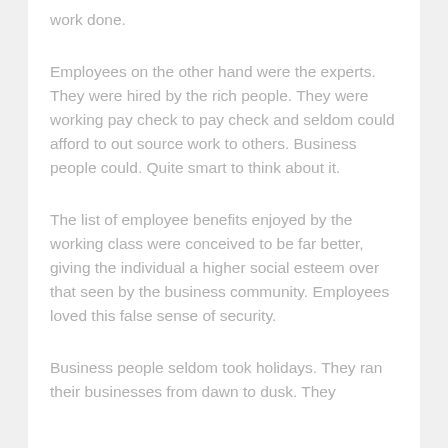work done.
Employees on the other hand were the experts. They were hired by the rich people. They were working pay check to pay check and seldom could afford to out source work to others. Business people could. Quite smart to think about it.
The list of employee benefits enjoyed by the working class were conceived to be far better, giving the individual a higher social esteem over that seen by the business community. Employees loved this false sense of security.
Business people seldom took holidays. They ran their businesses from dawn to dusk. They